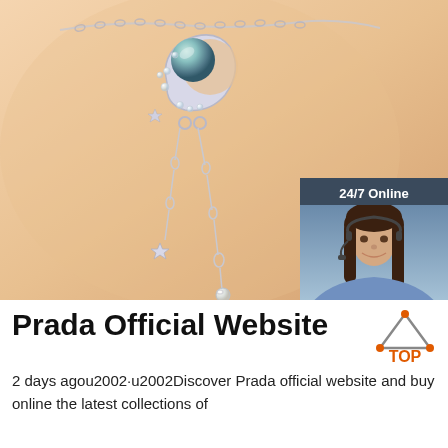[Figure (photo): Close-up photo of a silver jewelry necklace/bracelet with a moon and star pendant featuring a pearl/opal stone, hanging chains, and crystal accents, worn against skin. A 24/7 online customer support chat widget overlay is visible in the top-right corner with a woman wearing a headset.]
Prada Official Website
[Figure (logo): Orange and grey triangle/mountain shaped logo with dots and the word TOP in orange below it]
2 days agou2002·u2002Discover Prada official website and buy online the latest collections of